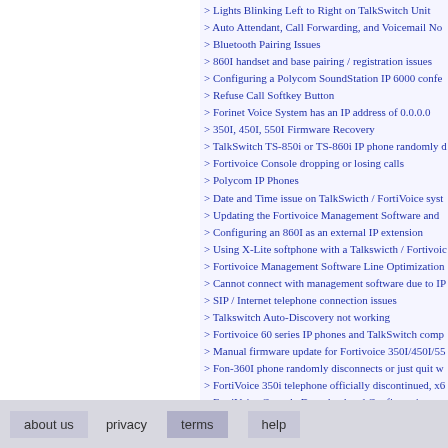Lights Blinking Left to Right on TalkSwitch Unit
Auto Attendant, Call Forwarding, and Voicemail No
Bluetooth Pairing Issues
860I handset and base pairing / registration issues
Configuring a Polycom SoundStation IP 6000 confe
Refuse Call Softkey Button
Forinet Voice System has an IP address of 0.0.0.0
350I, 450I, 550I Firmware Recovery
TalkSwitch TS-850i or TS-860i IP phone randomly d
Fortivoice Console dropping or losing calls
Polycom IP Phones
Date and Time issue on TalkSwicth / FortiVoice syst
Updating the Fortivoice Management Software and
Configuring an 860I as an external IP extension
Using X-Lite softphone with a Talkswicth / Fortivoic
Fortivoice Management Software Line Optimization
Cannot connect with management software due to IP
SIP / Internet telephone connection issues
Talkswitch Auto-Discovery not working
Fortivoice 60 series IP phones and TalkSwitch comp
Manual firmware update for Fortivoice 350I/450I/55
Fon-360I phone randomly disconnects or just quit w
FortiVoice 350i telephone officially discontinued, x6
FortiVoice Console Download and Configuration
FON-860i handset battery replacement
Resetting an Fortivoice FVC System to Factory Defa
FortiVoice FON-870i phone system compatiblity
Error Message when opening Tallkswitch managem
IP Phone / Extension not working "User Busy"
Voice Mail Box prompts issue
Voice mail softkey missing on FON-360i, 460i and 5
Changing Unit ID of a Talkswitch / Fortivoice Syste
about us   privacy   terms   help